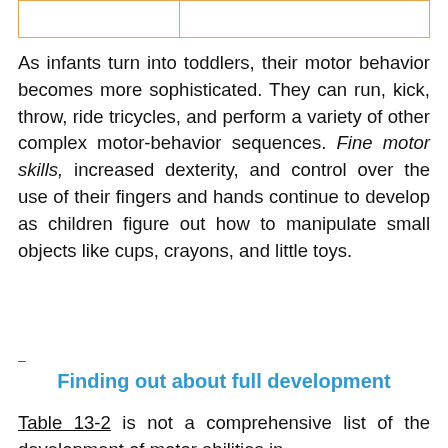As infants turn into toddlers, their motor behavior becomes more sophisticated. They can run, kick, throw, ride tricycles, and perform a variety of other complex motor-behavior sequences. Fine motor skills, increased dexterity, and control over the use of their fingers and hands continue to develop as children figure out how to manipulate small objects like cups, crayons, and little toys.
-
Finding out about full development
Table 13-2 is not a comprehensive list of the development of motor abilities in